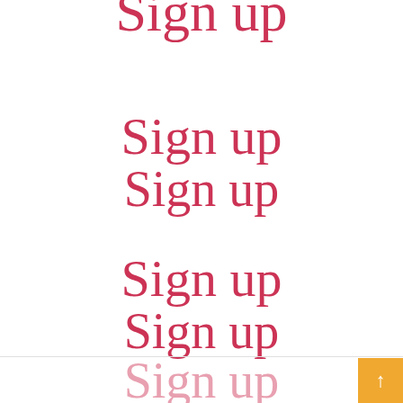[Figure (illustration): Decorative 'Sign up' text in cursive/script style, partially cropped at top of page]
[Figure (illustration): Two 'Sign up' texts in cursive script style, stacked closely]
[Figure (illustration): Two 'Sign up' texts in cursive script style, stacked closely]
[Figure (illustration): Partially visible 'Sign up' text in lighter pink cursive at bottom of page]
[Figure (other): Orange/amber square button with upward arrow in bottom-right corner]